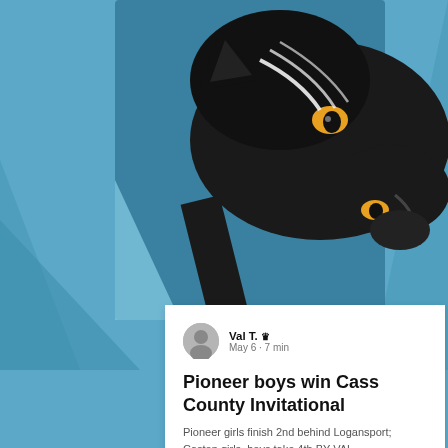[Figure (illustration): Black panther mascot logo on a blue geometric background. The panther faces right with an open mouth, yellow/orange eyes, and white stripe markings on its head.]
Val T. 👑
May 6 · 7 min
Pioneer boys win Cass County Invitational
Pioneer girls finish 2nd behind Logansport; Caston girls, boys take 4th BY VAL TSOUTSOURI...
132   0